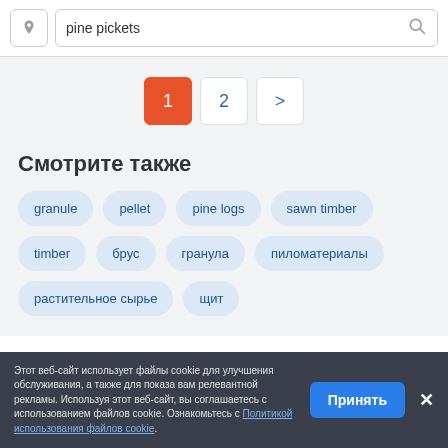[Figure (screenshot): Search bar with location pin icon, text 'pine pickets', and search magnifier icon]
1  2  >
Смотрите также
granule
pellet
pine logs
sawn timber
timber
брус
гранула
пиломатериалы
растительное сырье
щит
Этот веб-сайт использует файлы cookie для улучшения обслуживания, а также для показа вам релевантной рекламы. Используя этот веб-сайт, вы соглашаетесь с использованием файлов cookie. Ознакомьтесь с Политикой использования файлов cookie.